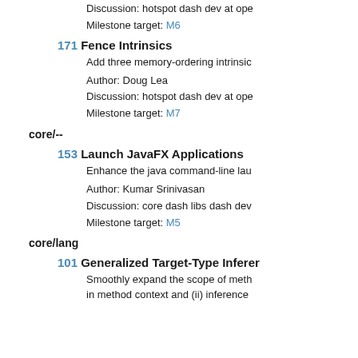Discussion: hotspot dash dev at ope
Milestone target: M6
171 Fence Intrinsics
Add three memory-ordering intrinsic
Author: Doug Lea
Discussion: hotspot dash dev at ope
Milestone target: M7
core/--
153 Launch JavaFX Applications
Enhance the java command-line lau
Author: Kumar Srinivasan
Discussion: core dash libs dash dev
Milestone target: M5
core/lang
101 Generalized Target-Type Inferer
Smoothly expand the scope of meth in method context and (ii) inference